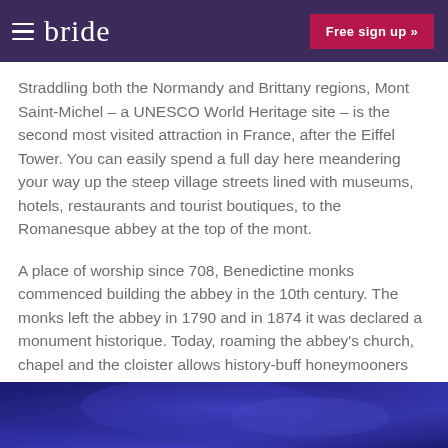bride | Free sign up »
Straddling both the Normandy and Brittany regions, Mont Saint-Michel – a UNESCO World Heritage site – is the second most visited attraction in France, after the Eiffel Tower. You can easily spend a full day here meandering your way up the steep village streets lined with museums, hotels, restaurants and tourist boutiques, to the Romanesque abbey at the top of the mont.
A place of worship since 708, Benedictine monks commenced building the abbey in the 10th century. The monks left the abbey in 1790 and in 1874 it was declared a monument historique. Today, roaming the abbey's church, chapel and the cloister allows history-buff honeymooners the chance to take a step back in time.
[Figure (photo): Blue/purple night sky or landscape image, partially visible at the bottom of the page]